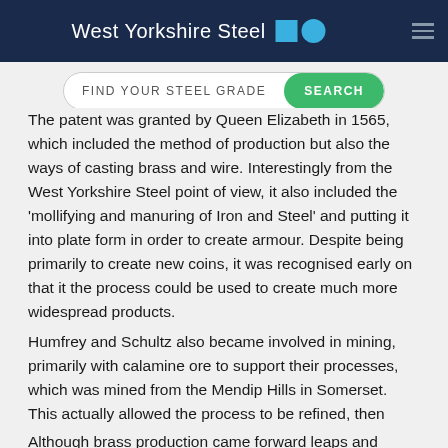West Yorkshire Steel
FIND YOUR STEEL GRADE  SEARCH
The patent was granted by Queen Elizabeth in 1565, which included the method of production but also the ways of casting brass and wire. Interestingly from the West Yorkshire Steel point of view, it also included the ‘mollifying and manuring of Iron and Steel’ and putting it into plate form in order to create armour. Despite being primarily to create new coins, it was recognised early on that it the process could be used to create much more widespread products.
Humfrey and Schultz also became involved in mining, primarily with calamine ore to support their processes, which was mined from the Mendip Hills in Somerset. This actually allowed the process to be refined, then improved over a number of years, producing what has been referred to historically as “the first true brass” produced in England by 1568.
Although brass production came forward leaps and